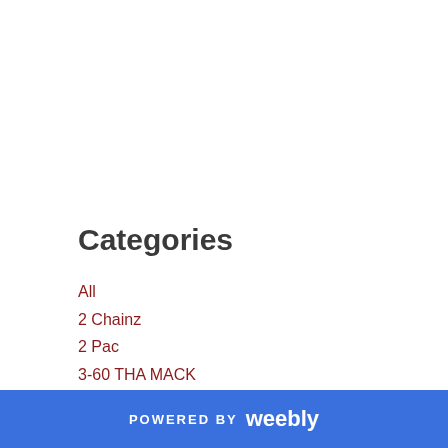Categories
All
2 Chainz
2 Pac
3-60 THA MACK
360 Tha Mackc672fb0c05
4 Wheel City
50cent
50 Cent
Ace Mac
Action Bronson
POWERED BY weebly